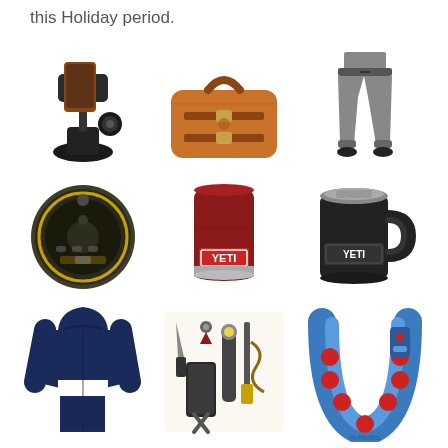this Holiday period.
[Figure (photo): Grid of 9 product images: car cup holder phone mount, leather toiletry bag, gray jogger pants, waterproof bluetooth speaker, YETI red can cooler, YETI black rambler mug, navy hoodie sweatshirt, multi-tool survival kit, neck massager device]
[Figure (photo): Car cup holder phone mount with smartphone attached]
[Figure (photo): Brown leather roll-up toiletry/dopp kit bag]
[Figure (photo): Person wearing gray jogger sweatpants]
[Figure (photo): Round waterproof Bluetooth speaker, dark olive/gold color]
[Figure (photo): YETI Rambler Colster can cooler in red/brick color]
[Figure (photo): YETI Rambler mug in black with handle]
[Figure (photo): Navy blue hoodie sweatshirt with white stripe]
[Figure (photo): Multi-tool survival kit set with various tools]
[Figure (photo): Blue/red neck and shoulder massager device]